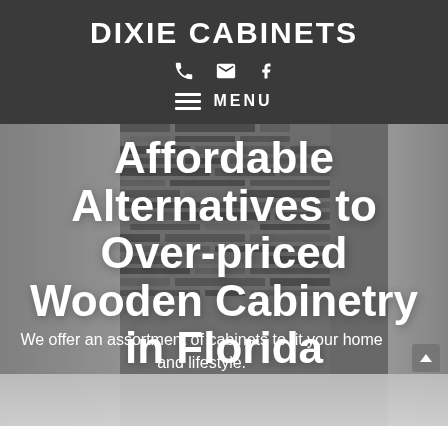DIXIE CABINETS
[Figure (screenshot): Navigation icons: phone, mail, facebook]
[Figure (screenshot): Hamburger menu icon with MENU text]
Affordable Alternatives to Over-priced Wooden Cabinetry in Florida
We offer an assortment of cabinets to fit your home and lifestyle.